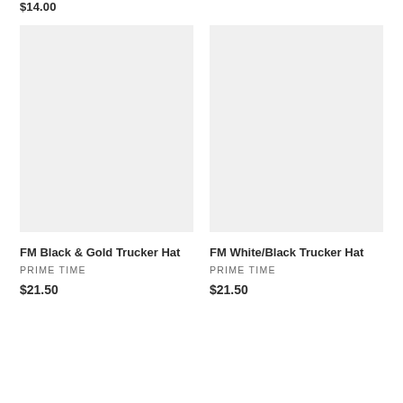$14.00
[Figure (photo): Product image placeholder for FM Black & Gold Trucker Hat]
FM Black & Gold Trucker Hat
PRIME TIME
$21.50
[Figure (photo): Product image placeholder for FM White/Black Trucker Hat]
FM White/Black Trucker Hat
PRIME TIME
$21.50